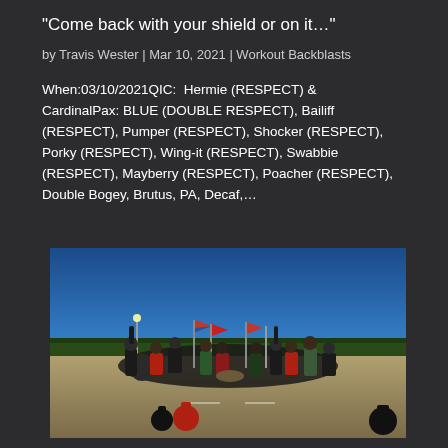“Come back with your shield or on it…”
by Travis Wester | Mar 10, 2021 | Workout Backblasts
When:03/10/2021QIC: Hermie (RESPECT) & CardinalPax: BLUE (DOUBLE RESPECT), Bailiff (RESPECT), Pumper (RESPECT), Shocker (RESPECT), Porky (RESPECT), Wing-it (RESPECT), Swabbie (RESPECT), Mayberry (RESPECT), Poacher (RESPECT), Double Bogey, Brutus, PA, Decaf,…
[Figure (photo): Group of people standing in a parking lot outdoors, some holding American flags, some raising fists, with kettlebells on the ground in the foreground, trees and a blue sky in the background.]